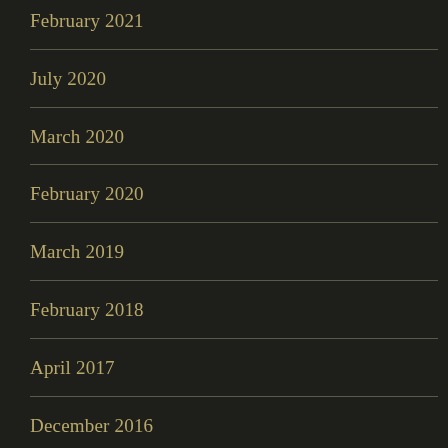February 2021
July 2020
March 2020
February 2020
March 2019
February 2018
April 2017
December 2016
September…